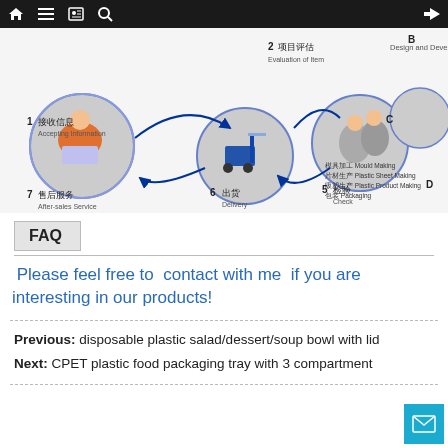[Figure (infographic): Process flow diagram showing steps: 1 Accepting Information (接收信息), 2 Evaluation of Item (项目评估), Design and Development (B), C, Mould Making/Plastic Sheet Making/Plastic Product Making/Packaging (D), 5 Check (检验), 6 Delivery (出货), 7 After-sales Service (售后服务). Illustrated with circular photos of workers and facilities connected by arrows.]
FAQ
Please feel free to  contact with me  if you are interesting in our products!
Previous: disposable plastic salad/dessert/soup bowl with lid
Next: CPET plastic food packaging tray with 3 compartment